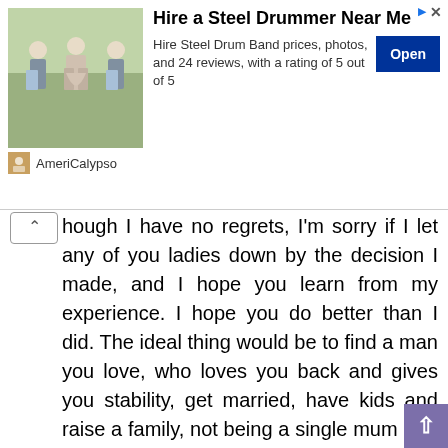[Figure (screenshot): Advertisement banner for AmeriCalypso - Hire a Steel Drummer Near Me. Shows people dancing, Open button, and brand logo.]
hough I have no regrets, I'm sorry if I let any of you ladies down by the decision I made, and I hope you learn from my experience. I hope you do better than I did. The ideal thing would be to find a man you love, who loves you back and gives you stability, get married, have kids and raise a family, not being a single mum or a baby mama. I was 37 years old at the time I conceived and if I want to be honest, my age played a role in me allowing myself to be pregnant out of wedlock. I don't want to be having kids in my 40s or struggling with fertility later in life. This wasn't the plan but like I said before, life happens. You just have to find a way to make the best of what life throws at you. And so for any young girl this means anything to, I am truly sorry.

I am not sorry I had Jayce, I'm just sorry I didn't go about it the right way.